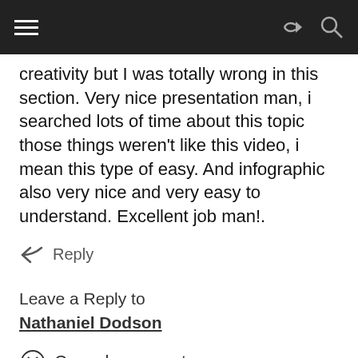creativity but I was totally wrong in this section. Very nice presentation man, i searched lots of time about this topic those things weren't like this video, i mean this type of easy. And infographic also very nice and very easy to understand. Excellent job man!.
Reply
Leave a Reply to Nathaniel Dodson
Cancel comment
Your email address will not be published. Required fields are